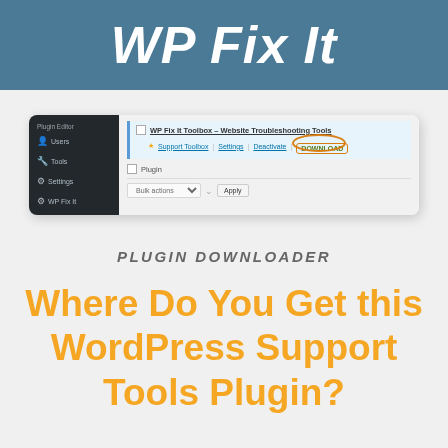WP Fix It
[Figure (screenshot): WordPress admin plugin editor screenshot showing WP Fix It Toolbox plugin with DOWNLOAD button highlighted in an orange circle. Sidebar shows Plugin Editor, Users, Tools, Settings, WP Fix It menu items.]
PLUGIN DOWNLOADER
Where Do You Get this WordPress Support Tools Plugin?